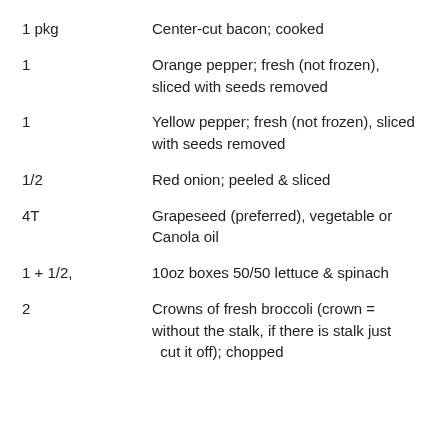1 pkg	Center-cut bacon; cooked
1	Orange pepper; fresh (not frozen), sliced with seeds removed
1	Yellow pepper; fresh (not frozen), sliced with seeds removed
1/2	Red onion; peeled & sliced
4T	Grapeseed (preferred), vegetable or Canola oil
1 + 1/2,	10oz boxes 50/50 lettuce & spinach
2	Crowns of fresh broccoli (crown = without the stalk, if there is stalk just cut it off); chopped